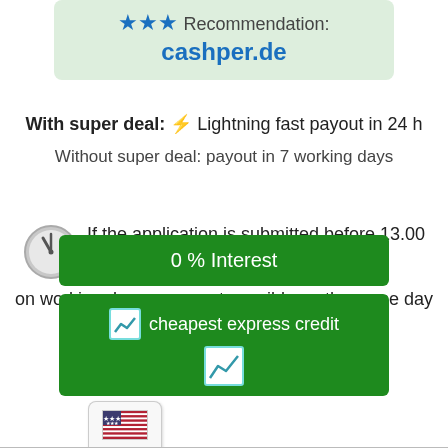[Figure (other): Green recommendation box with stars and cashper.de link]
With super deal: ⚡ Lightning fast payout in 24 h
Without super deal: payout in 7 working days
🕐 If the application is submitted before 13.00 on working days, payment possible on the same day
[Figure (other): Green button: 0 % Interest]
[Figure (other): Green button: cheapest express credit with chart icon]
[Figure (other): US flag language selector box at bottom left]